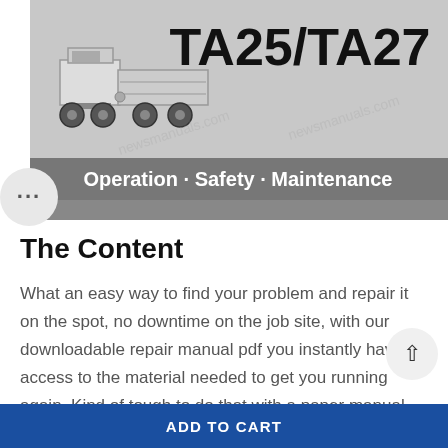[Figure (illustration): Manual cover image showing a TA25/TA27 articulated truck illustration with text 'Operation · Safety · Maintenance' on a grey background. Watermark text 'newsmanuals.com' visible.]
The Content
What an easy way to find your problem and repair it on the spot, no downtime on the job site, with our downloadable repair manual pdf you instantly have access to the material needed to get you running again. Kind of tough to do that with a paper manual